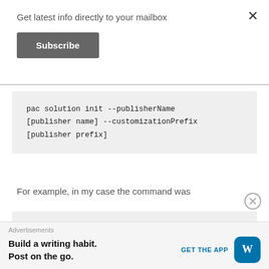Get latest info directly to your mailbox
Subscribe
pac solution init --publisherName [publisher name] --customizationPrefix [publisher prefix]
For example, in my case the command was
pac solution init --publisherName
Advertisements
Build a writing habit.
Post on the go.
GET THE APP